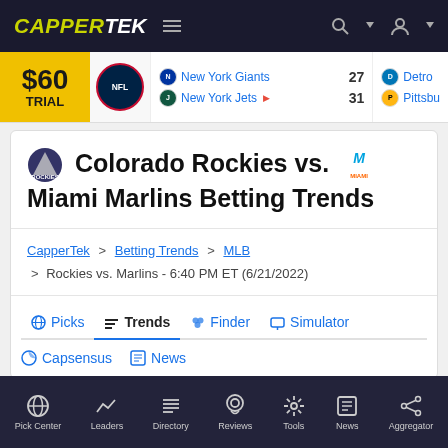CAPPERTEK
[Figure (screenshot): Scores bar showing NFL game: New York Giants 27, New York Jets 31, and partial Detroit/Pittsburgh game, with $60 TRIAL promo]
Colorado Rockies vs. Miami Marlins Betting Trends
CapperTek > Betting Trends > MLB > Rockies vs. Marlins - 6:40 PM ET (6/21/2022)
Picks
Trends
Finder
Simulator
Capsensus
News
Pick Center  Leaders  Directory  Reviews  Tools  News  Aggregator